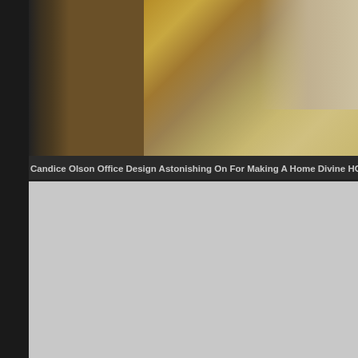[Figure (photo): Interior room photo showing a bedroom/living area with hardwood flooring, a patterned area rug with hexagonal/circular motifs in tan/gold tones, a bed with beige bedding on the right, a coffee table, and storage units/media cabinet on the left side.]
Candice Olson Office Design Astonishing On For Making A Home Divine HGTV
[Figure (photo): A placeholder or loading image area shown as a solid light gray rectangle.]